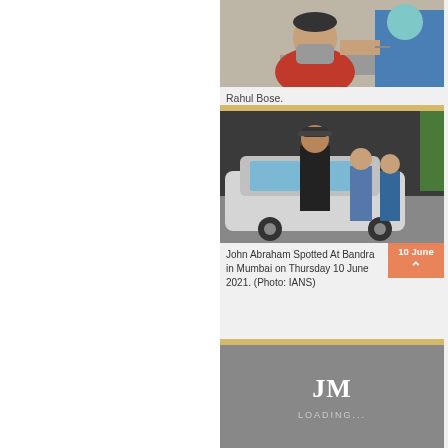[Figure (photo): Rahul Bose wearing a red shirt and grey mask, getting vaccinated by a healthcare worker in PPE]
Rahul Bose.
[Figure (photo): John Abraham spotted at Bandra, Mumbai, standing near a white car with other people around]
John Abraham Spotted At Bandra in Mumbai on Thursday 10 June 2021. (Photo: IANS)
[Figure (logo): JM logo with LOADING... text on grey background]